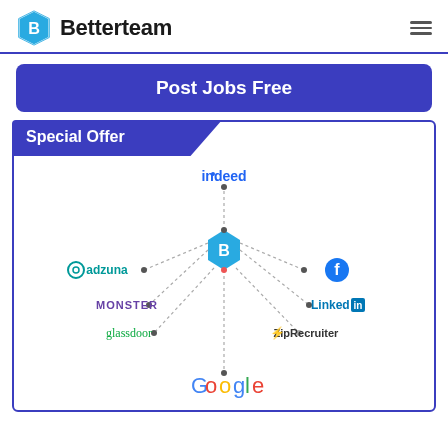Betterteam
Post Jobs Free
Special Offer
[Figure (infographic): Hub-and-spoke diagram showing Betterteam (center, blue badge with B) connected to job boards: Indeed (top), Adzuna (left), Facebook (right), Monster (left), LinkedIn (right), Glassdoor (bottom-left), ZipRecruiter (bottom-right), Google (bottom)]